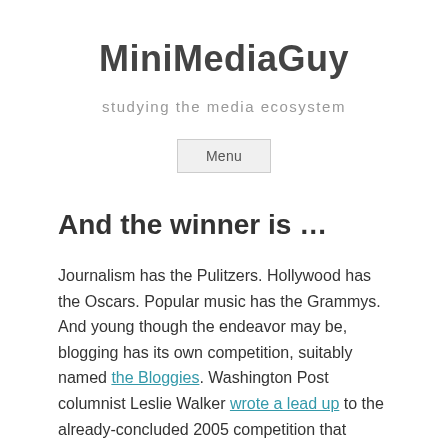MiniMediaGuy
studying the media ecosystem
Menu
And the winner is …
Journalism has the Pulitzers. Hollywood has the Oscars. Popular music has the Grammys. And young though the endeavor may be, blogging has its own competition, suitably named the Bloggies. Washington Post columnist Leslie Walker wrote a lead up to the already-concluded 2005 competition that included this quote from the founder of the event: